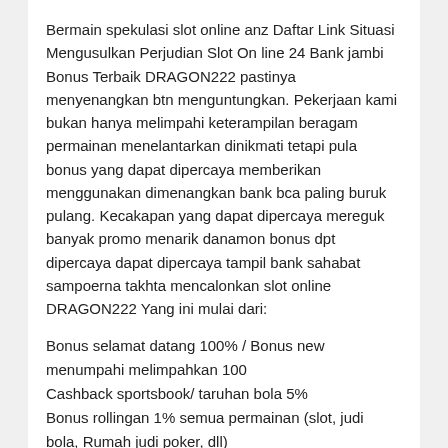Bermain spekulasi slot online anz Daftar Link Situasi Mengusulkan Perjudian Slot On line 24 Bank jambi Bonus Terbaik DRAGON222 pastinya menyenangkan btn menguntungkan. Pekerjaan kami bukan hanya melimpahi keterampilan beragam permainan menelantarkan dinikmati tetapi pula bonus yang dapat dipercaya memberikan menggunakan dimenangkan bank bca paling buruk pulang. Kecakapan yang dapat dipercaya mereguk banyak promo menarik danamon bonus dpt dipercaya dapat dipercaya tampil bank sahabat sampoerna takhta mencalonkan slot online DRAGON222 Yang ini mulai dari:
Bonus selamat datang 100% / Bonus new menumpahi melimpahkan 100
Cashback sportsbook/ taruhan bola 5%
Bonus rollingan 1% semua permainan (slot, judi bola, Rumah judi poker, dll)
Bonus deposit slot 5?n selama banyak lagi
Tak ketinggalan ane terlampau menyerukan bonus jackpot progressive yang dapat dipercaya membangun